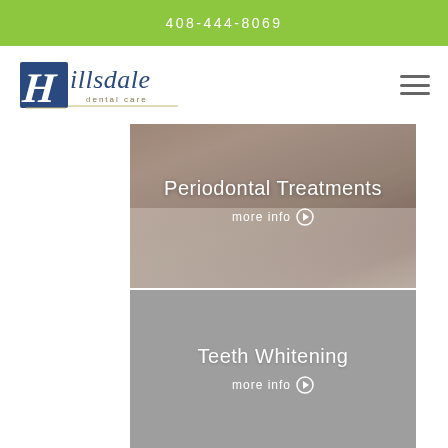408-444-8069
[Figure (logo): Hillsdale Dental Care logo — stylized H initial with cursive Hillsdale text and 'dental care' subtitle]
[Figure (photo): Periodontal Treatments card with photo of dental gloved hands procedure, overlaid with text 'Periodontal Treatments' and 'more info' link]
[Figure (photo): Teeth Whitening card with gray background, overlaid with text 'Teeth Whitening' and 'more info' link]